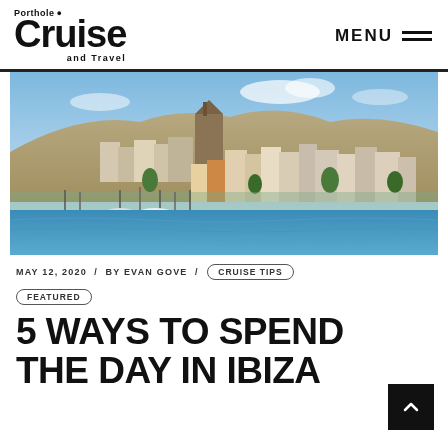Porthole Cruise and Travel  MENU
[Figure (photo): Aerial/waterfront view of Ibiza town with white buildings, a hillside cathedral, marina with sailboats, blue water in the foreground under a partly cloudy blue sky.]
MAY 12, 2020 / BY EVAN GOVE / CRUISE TIPS
FEATURED
5 WAYS TO SPEND THE DAY IN IBIZA